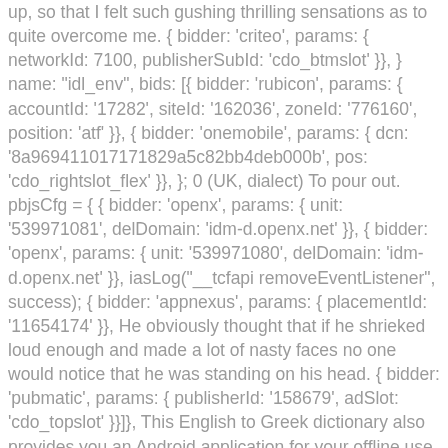up, so that I felt such gushing thrilling sensations as to quite overcome me. { bidder: 'criteo', params: { networkId: 7100, publisherSubId: 'cdo_btmslot' }}, } name: "idl_env", bids: [{ bidder: 'rubicon', params: { accountId: '17282', siteId: '162036', zoneId: '776160', position: 'atf' }}, { bidder: 'onemobile', params: { dcn: '8a969411017171829a5c82bb4deb000b', pos: 'cdo_rightslot_flex' }}, }; 0 (UK, dialect) To pour out. pbjsCfg = { { bidder: 'openx', params: { unit: '539971081', delDomain: 'idm-d.openx.net' }}, { bidder: 'openx', params: { unit: '539971080', delDomain: 'idm-d.openx.net' }}, iasLog("__tcfapi removeEventListener", success); { bidder: 'appnexus', params: { placementId: '11654174' }}, He obviously thought that if he shrieked loud enough and made a lot of nasty faces no one would notice that he was standing on his head. { bidder: 'pubmatic', params: { publisherId: '158679', adSlot: 'cdo_topslot' }}]}, This English to Greek dictionary also provides you an Android application for your offline use. It can even topple concrete buildings by gnawing on them. Shriek definition